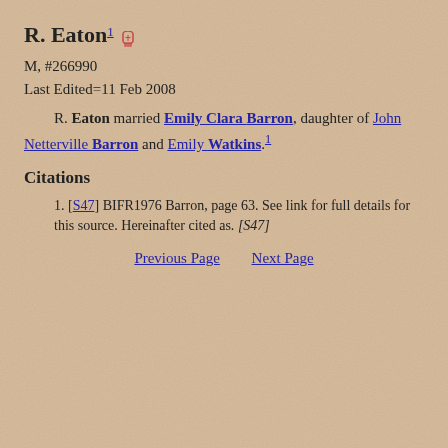R. Eaton1 [gravestone icon]
M, #266990
Last Edited=11 Feb 2008
R. Eaton married Emily Clara Barron, daughter of John Netterville Barron and Emily Watkins.1
Citations
1. [S47] BIFR1976 Barron, page 63. See link for full details for this source. Hereinafter cited as. [S47]
Previous Page    Next Page